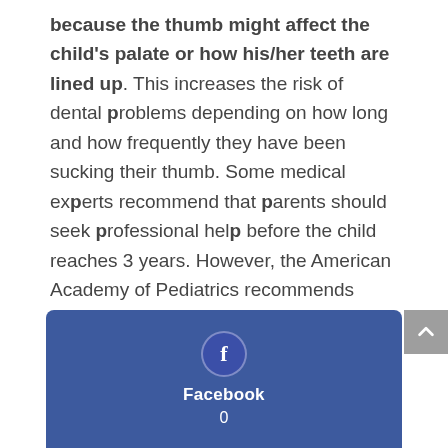because the thumb might affect the child's palate or how his/her teeth are lined up. This increases the risk of dental problems depending on how long and how frequently they have been sucking their thumb. Some medical experts recommend that parents should seek professional help before the child reaches 3 years. However, the American Academy of Pediatrics recommends thumb-sucking treatment for children who are above 5 years.
[Figure (infographic): Facebook social share button showing icon, label 'Facebook', and count '0' on a blue background]